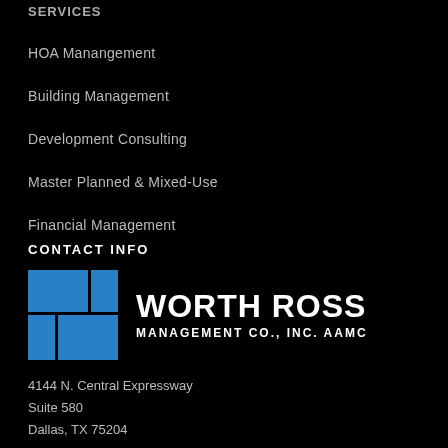SERVICES
HOA Manangement
Building Management
Development Consulting
Master Planned & Mixed-Use
Financial Management
CONTACT INFO
[Figure (logo): Worth Ross Management Co., Inc. AAMC logo with blue grid squares and white text]
4144 N. Central Expressway
Suite 580
Dallas, TX 75204